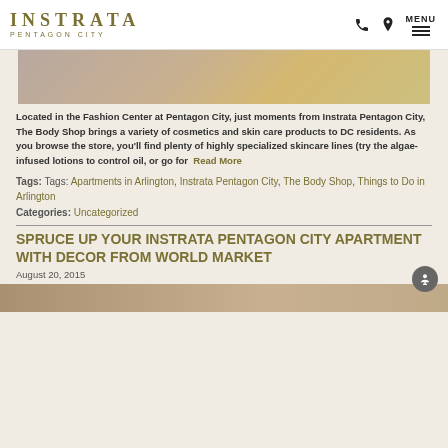INSTRATA PENTAGON CITY — MENU
[Figure (photo): Partial photo strip showing blurred interior scene with warm tones]
Located in the Fashion Center at Pentagon City, just moments from Instrata Pentagon City, The Body Shop brings a variety of cosmetics and skin care products to DC residents. As you browse the store, you'll find plenty of highly specialized skincare lines (try the algae-infused lotions to control oil, or go for  Read More
Tags: Tags: Apartments in Arlington, Instrata Pentagon City, The Body Shop, Things to Do in Arlington
Categories: Uncategorized
SPRUCE UP YOUR INSTRATA PENTAGON CITY APARTMENT WITH DECOR FROM WORLD MARKET
August 20, 2015
[Figure (photo): Bottom partial photo strip showing colorful items]